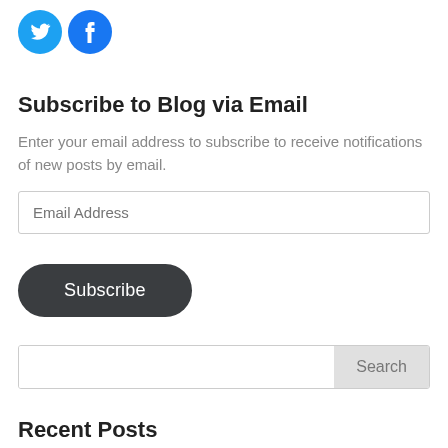[Figure (illustration): Two circular social media icons: Twitter (blue bird) and Facebook (blue f)]
Subscribe to Blog via Email
Enter your email address to subscribe to receive notifications of new posts by email.
Email Address (input field)
Subscribe (button)
Search (search box)
Recent Posts
25 On Line Dates In 25 Timesâ ¦
Research Paper Writing Tips – Best Tips For Pupils